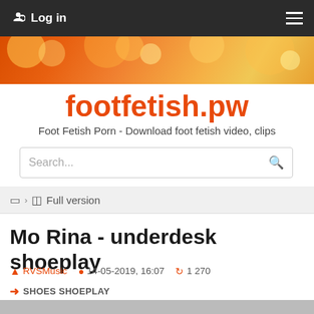Log in
[Figure (illustration): Orange bokeh banner image]
footfetish.pw
Foot Fetish Porn - Download foot fetish video, clips
Search...
Full version
Mo Rina - underdesk shoeplay
RVSMusic  14-05-2019, 16:07  1 270
SHOES SHOEPLAY